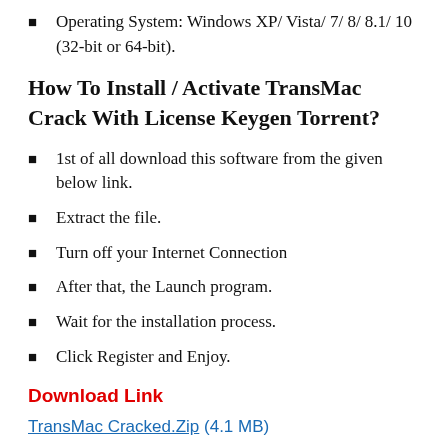Operating System: Windows XP/ Vista/ 7/ 8/ 8.1/ 10 (32-bit or 64-bit).
How To Install / Activate TransMac Crack With License Keygen Torrent?
1st of all download this software from the given below link.
Extract the file.
Turn off your Internet Connection
After that, the Launch program.
Wait for the installation process.
Click Register and Enjoy.
Download Link
TransMac Cracked.Zip (4.1 MB)